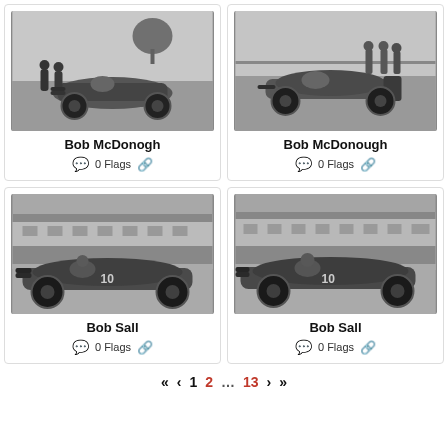[Figure (photo): Black and white vintage photo of a racing car with people standing beside it - Bob McDonogh]
Bob McDonogh
0 Flags
[Figure (photo): Black and white vintage photo of a racing car with people in background - Bob McDonough]
Bob McDonough
0 Flags
[Figure (photo): Black and white vintage photo of a racing car at a racetrack with crowd - Bob Sall]
Bob Sall
0 Flags
[Figure (photo): Black and white vintage photo of a racing car at a racetrack - Bob Sall]
Bob Sall
0 Flags
« ‹ 1 2 … 13 › »